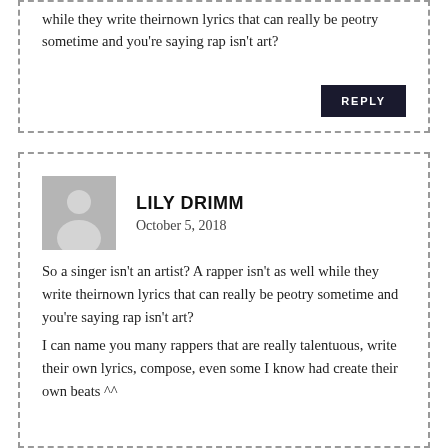while they write theirnown lyrics that can really be peotry sometime and you're saying rap isn't art?
REPLY
LILY DRIMM
October 5, 2018
So a singer isn't an artist? A rapper isn't as well while they write theirnown lyrics that can really be peotry sometime and you're saying rap isn't art?
I can name you many rappers that are really talentuous, write their own lyrics, compose, even some I know had create their own beats ^^